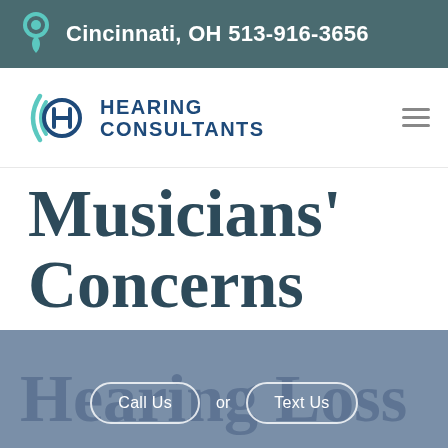Cincinnati, OH 513-916-3656
[Figure (logo): Hearing Consultants logo with stylized H letter and sound wave brackets, navy blue color]
Musicians' Concerns with Hearing Loss
Call Us or Text Us